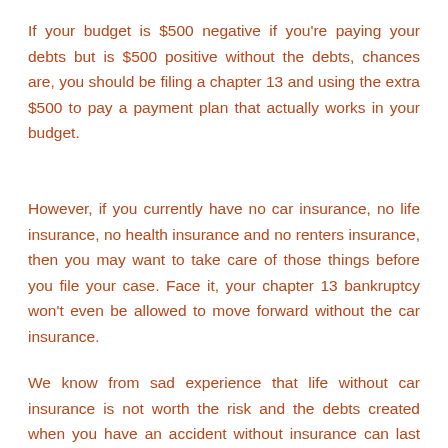If your budget is $500 negative if you're paying your debts but is $500 positive without the debts, chances are, you should be filing a chapter 13 and using the extra $500 to pay a payment plan that actually works in your budget.
However, if you currently have no car insurance, no life insurance, no health insurance and no renters insurance, then you may want to take care of those things before you file your case. Face it, your chapter 13 bankruptcy won't even be allowed to move forward without the car insurance.
We know from sad experience that life without car insurance is not worth the risk and the debts created when you have an accident without insurance can last for